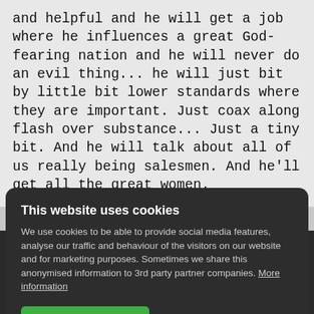and helpful and he will get a job where he influences a great God-fearing nation and he will never do an evil thing... he will just bit by little bit lower standards where they are important. Just coax along flash over substance... Just a tiny bit. And he will talk about all of us really being salesmen. And he'll get all the great women.
This website uses cookies
We use cookies to be able to provide social media features, analyse our traffic and behaviour of the visitors on our website and for marketing purposes. Sometimes we share this anonymised information to 3rd party partner companies. More information
I accept all Cookies   Change settings
idea of you, you know, you're sort of saying, trust me I'm, um, credible. So